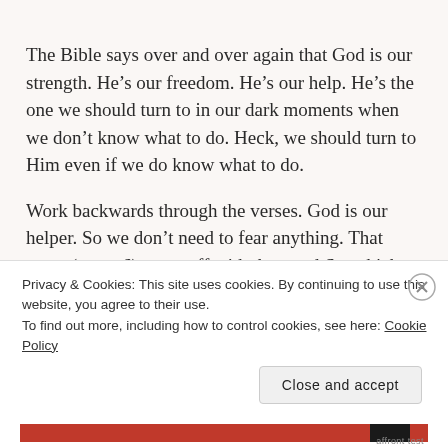The Bible says over and over again that God is our strength. He's our freedom. He's our help. He's the one we should turn to in our dark moments when we don't know what to do. Heck, we should turn to Him even if we do know what to do.
Work backwards through the verses. God is our helper. So we don't need to fear anything. That verse (verse 6) starts off with the word So, which means that to understand it fully you need to refer to the verse before it. We can confidently say God is our helper and we don't have to fear because God says
Privacy & Cookies: This site uses cookies. By continuing to use this website, you agree to their use.
To find out more, including how to control cookies, see here: Cookie Policy
Close and accept